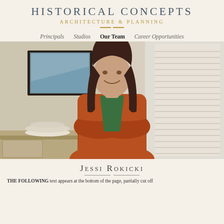HISTORICAL CONCEPTS
ARCHITECTURE & PLANNING
Principals  Studios  Our Team  Career Opportunities
[Figure (photo): Professional photo of Jessi Rokicki, a woman with long brown hair wearing a rust-colored cardigan and green top, arms crossed, standing in an architecture office with rolled blueprints and framed art in the background]
Jessi Rokicki
THE FOLLOWING text appears at the bottom of the page, partially cut off